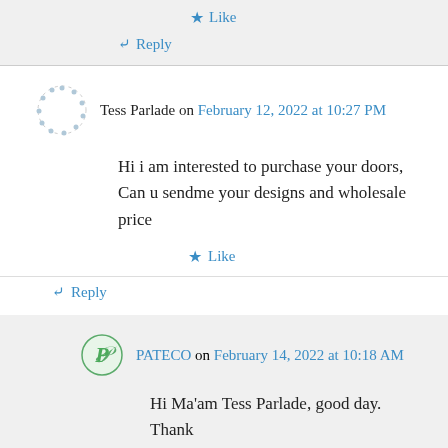Like
Reply
Tess Parlade on February 12, 2022 at 10:27 PM
Hi i am interested to purchase your doors, Can u sendme your designs and wholesale price
Like
Reply
PATECO on February 14, 2022 at 10:18 AM
Hi Ma'am Tess Parlade, good day. Thank you for your message and for visiting our website. We sent you an email to further